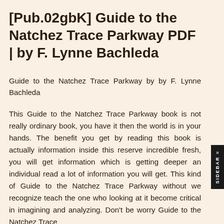[Pub.02gbK] Guide to the Natchez Trace Parkway PDF | by F. Lynne Bachleda
Guide to the Natchez Trace Parkway by by F. Lynne Bachleda
This Guide to the Natchez Trace Parkway book is not really ordinary book, you have it then the world is in your hands. The benefit you get by reading this book is actually information inside this reserve incredible fresh, you will get information which is getting deeper an individual read a lot of information you will get. This kind of Guide to the Natchez Trace Parkway without we recognize teach the one who looking at it become critical in imagining and analyzing. Don't be worry Guide to the Natchez Trace